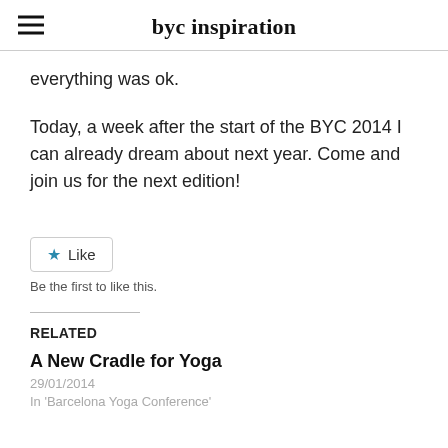byc inspiration
everything was ok.
Today, a week after the start of the BYC 2014 I can already dream about next year. Come and join us for the next edition!
★ Like
Be the first to like this.
RELATED
A New Cradle for Yoga
29/01/2014
In 'Barcelona Yoga Conference'